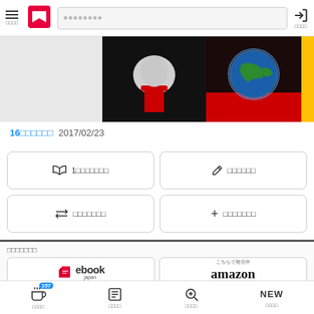Menu | Logo | Search | Login
[Figure (photo): Two images: left shows hands with a red cable on dark background; right shows hands holding a glowing Earth on red background; partial yellow strip on far right]
16□□□□□□ 2017/02/23
□ 1□□□□□□□
✏ □□□□□□
⇄ □□□□□□□
+ □□□□□□□
□□□□□□□
[Figure (logo): ebook japan logo]
[Figure (logo): amazon logo with こちらで発売中 label]
[Figure (logo): Rakuten Books partial logo]
[Figure (logo): コミック partial logo]
□□□□ 157 | □□□□ | □□□□ | NEW □□□□